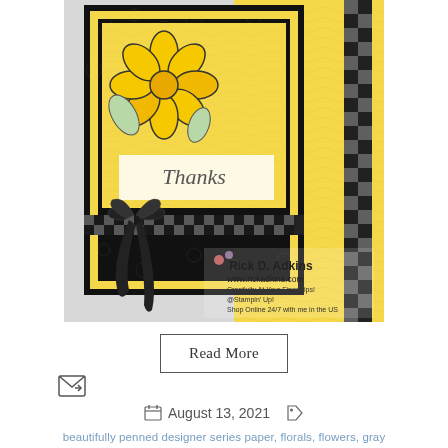[Figure (photo): A crafting/card-making photo showing a handmade 'Thanks' greeting card with yellow and black floral design, gingham ribbon, on a yellow patterned background. Watermark reads: Rick D. Adkins, www.rickadkins.com, Creativity At Your Fingertips!, @Stampin' Up!, Shop Online 24/7 with me in the US]
Read More
[Figure (logo): Small email/forward icon]
August 13, 2021
beautifully penned designer series paper, florals, flowers, gray